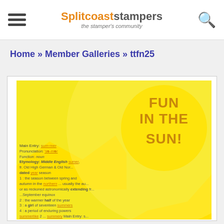Splitcoaststampers — the stamper's community
Home » Member Galleries » ttfn25
[Figure (illustration): A yellow card design with 'FUN IN THE SUN!' text inside a bright yellow circle on a yellow background, overlaid with dictionary-style text defining 'summer'.]